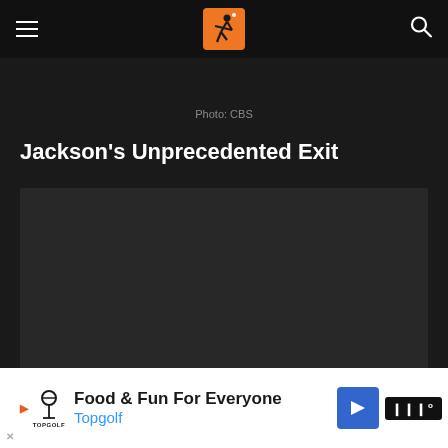Sports website header with hamburger menu, logo, and search icon
Photo: CBS
Jackson’s Unprecedented Exit
[Figure (other): Dark video player placeholder area]
Food & Fun For Everyone Topgolf